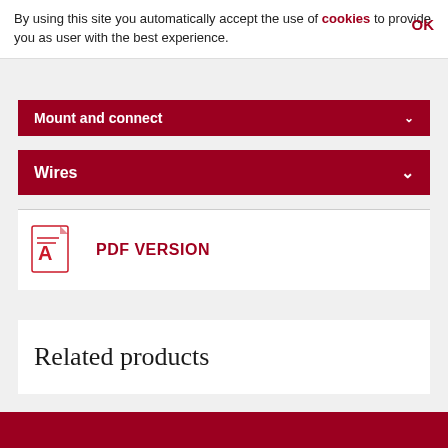By using this site you automatically accept the use of cookies to provide you as user with the best experience. OK
Mount and connect
Wires
[Figure (illustration): Adobe PDF icon — red document icon with folded corner and Acrobat logo]
PDF VERSION
Related products